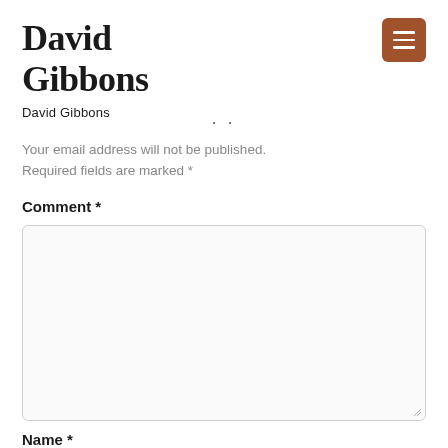David Gibbons
David Gibbons
Your email address will not be published. Required fields are marked *
Comment *
Name *